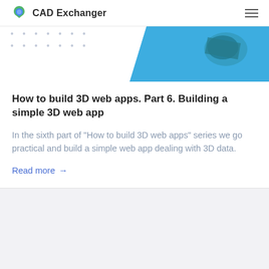CAD Exchanger
[Figure (screenshot): Card image with dot grid pattern on left and blue diagonal banner on right showing a partial 3D model view]
How to build 3D web apps. Part 6. Building a simple 3D web app
In the sixth part of "How to build 3D web apps" series we go practical and build a simple web app dealing with 3D data.
Read more →